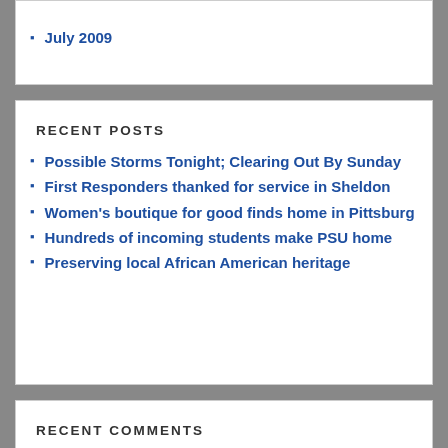July 2009
RECENT POSTS
Possible Storms Tonight; Clearing Out By Sunday
First Responders thanked for service in Sheldon
Women's boutique for good finds home in Pittsburg
Hundreds of incoming students make PSU home
Preserving local African American heritage
RECENT COMMENTS
Trevor on Soroptimists raise $7,000 with